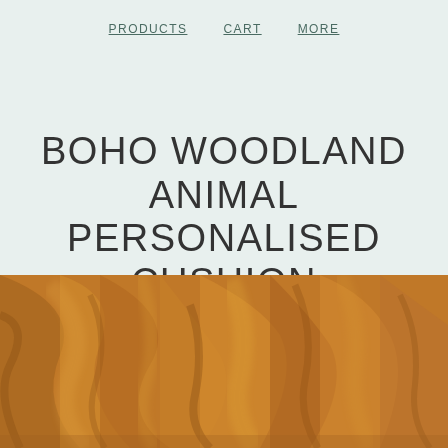PRODUCTS   CART   MORE
BOHO WOODLAND ANIMAL PERSONALISED CUSHION
$25.95 - $45.95
[Figure (photo): Close-up of golden/amber coloured crinkled fabric with natural folds and texture]